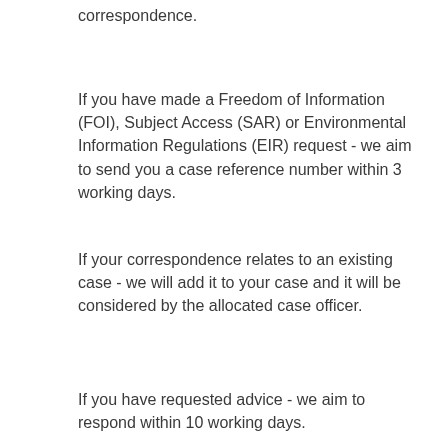correspondence.
If you have made a Freedom of Information (FOI), Subject Access (SAR) or Environmental Information Regulations (EIR) request - we aim to send you a case reference number within 3 working days.
If your correspondence relates to an existing case - we will add it to your case and it will be considered by the allocated case officer.
If you have requested advice - we aim to respond within 10 working days.